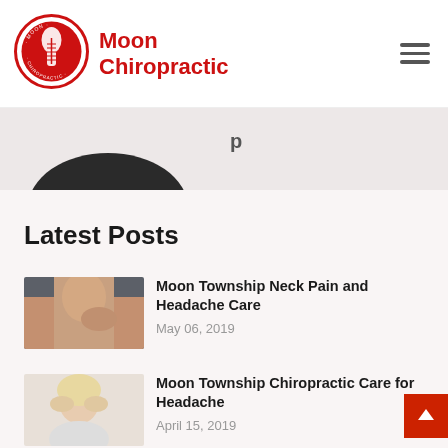[Figure (logo): Moon Chiropractic logo — circular red and white badge with spine illustration]
Moon Chiropractic
[Figure (photo): Partial view of a chiropractic-related image strip — a dark arc/band shape on light background]
Latest Posts
[Figure (photo): Thumbnail of a person holding their neck in pain]
Moon Township Neck Pain and Headache Care
May 06, 2019
[Figure (photo): Thumbnail of a woman holding her head, appearing to have a headache]
Moon Township Chiropractic Care for Headache
April 15, 2019
[Figure (photo): Thumbnail of a dark X-ray or medical image of the spine/disc area]
Chiropractic Found to Be "Safe and Helpful" for Disc Herniation